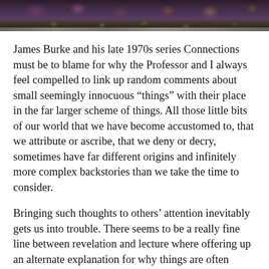[Figure (photo): Decorative banner image at top of page showing colorful floral/botanical pattern with purple, green and dark tones]
James Burke and his late 1970s series Connections must be to blame for why the Professor and I always feel compelled to link up random comments about small seemingly innocuous “things” with their place in the far larger scheme of things. All those little bits of our world that we have become accustomed to, that we attribute or ascribe, that we deny or decry, sometimes have far different origins and infinitely more complex backstories than we take the time to consider.
Bringing such thoughts to others’ attention inevitably gets us into trouble. There seems to be a really fine line between revelation and lecture where offering up an alternate explanation for why things are often comes off as just plain pedantic. In real life, physical or verbal indications give one a relatively good idea of which direction the conversation will be going but in the virtual world context is